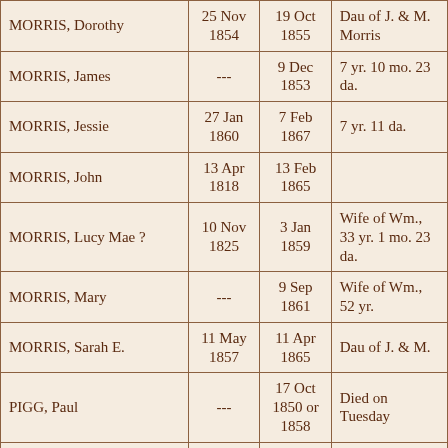| Name | Born | Died | Notes |
| --- | --- | --- | --- |
| MORRIS, Dorothy | 25 Nov 1854 | 19 Oct 1855 | Dau of J. & M. Morris |
| MORRIS, James | --- | 9 Dec 1853 | 7 yr. 10 mo. 23 da. |
| MORRIS, Jessie | 27 Jan 1860 | 7 Feb 1867 | 7 yr. 11 da. |
| MORRIS, John | 13 Apr 1818 | 13 Feb 1865 |  |
| MORRIS, Lucy Mae ? | 10 Nov 1825 | 3 Jan 1859 | Wife of Wm., 33 yr. 1 mo. 23 da. |
| MORRIS, Mary | --- | 9 Sep 1861 | Wife of Wm., 52 yr. |
| MORRIS, Sarah E. | 11 May 1857 | 11 Apr 1865 | Dau of J. & M. |
| PIGG, Paul | --- | 17 Oct 1850 or 1858 | Died on Tuesday |
| PIGG, Wm. M. | 13 Sep 1833 | 7 Jan 1861 | 27 yr. 3 mo. 24 da. |
| PUGH, Elmira | --- | 24 Dec 1857 | Wife of Robert, 27 yr. 7 mo. 26 da. |